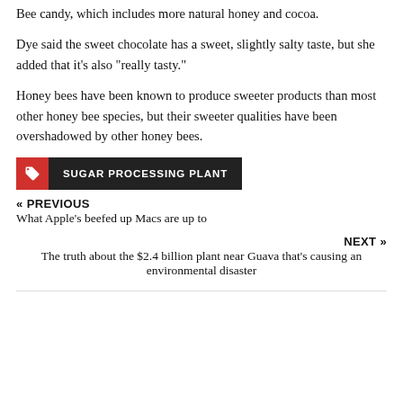Bee candy, which includes more natural honey and cocoa.
Dye said the sweet chocolate has a sweet, slightly salty taste, but she added that it's also "really tasty."
Honey bees have been known to produce sweeter products than most other honey bee species, but their sweeter qualities have been overshadowed by other honey bees.
SUGAR PROCESSING PLANT
« PREVIOUS
What Apple's beefed up Macs are up to
NEXT »
The truth about the $2.4 billion plant near Guava that's causing an environmental disaster